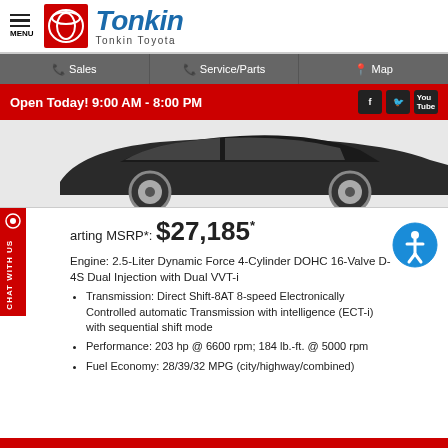MENU | Tonkin Toyota
Sales | Service/Parts | Map
Open Today! 9:00 AM - 8:00 PM
[Figure (photo): Side view of a dark Toyota sedan (wheels visible)]
Starting MSRP*: $27,185*
Engine: 2.5-Liter Dynamic Force 4-Cylinder DOHC 16-Valve D-4S Dual Injection with Dual VVT-i
Transmission: Direct Shift-8AT 8-speed Electronically Controlled automatic Transmission with intelligence (ECT-i) with sequential shift mode
Performance: 203 hp @ 6600 rpm; 184 lb.-ft. @ 5000 rpm
Fuel Economy: 28/39/32 MPG (city/highway/combined)